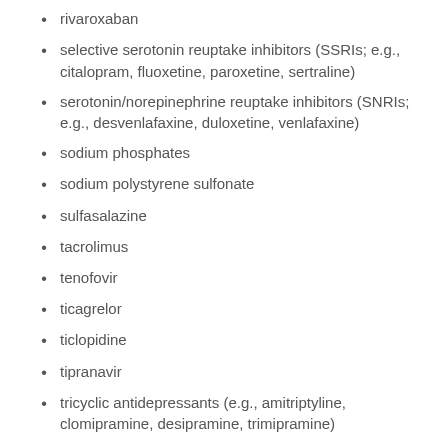rivaroxaban
selective serotonin reuptake inhibitors (SSRIs; e.g., citalopram, fluoxetine, paroxetine, sertraline)
serotonin/norepinephrine reuptake inhibitors (SNRIs; e.g., desvenlafaxine, duloxetine, venlafaxine)
sodium phosphates
sodium polystyrene sulfonate
sulfasalazine
tacrolimus
tenofovir
ticagrelor
ticlopidine
tipranavir
tricyclic antidepressants (e.g., amitriptyline, clomipramine, desipramine, trimipramine)
urokinase
vancomycin